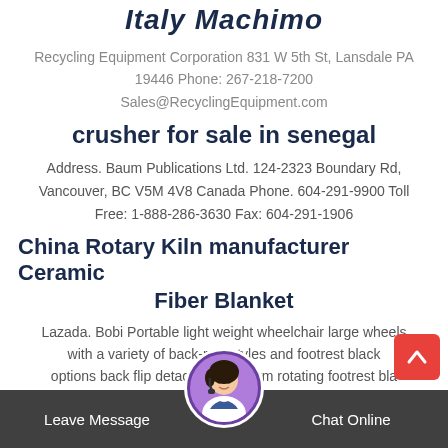Italy Machimo
Recycling Equipment Corporation 831 W 5th St, Lansdale PA 19446 Phone: 267-218-7200 Sales@RecyclingEquipment.com
crusher for sale in senegal
Address. Baum Publications Ltd. 124-2323 Boundary Rd, Vancouver, BC V5M 4V8 Canada Phone. 604-291-9900 Toll Free: 1-888-286-3630 Fax: 604-291-1906
China Rotary Kiln manufacturer Ceramic Fiber Blanket
Lazada. Bobi Portable light weight wheelchair large wheels with a variety of back-rest styles and footrest black options back flip detachable full arm rotating footrest bla...
Leave Message   Chat Online